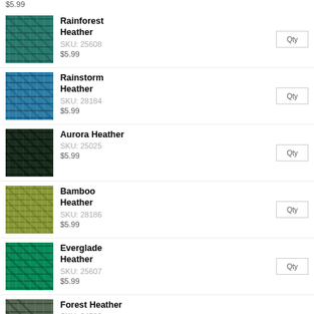$5.99
[Figure (photo): Rainforest Heather yarn swatch - teal/dark teal braided yarn]
Rainforest Heather
SKU: 25608
$5.99
[Figure (photo): Rainstorm Heather yarn swatch - medium blue braided yarn]
Rainstorm Heather
SKU: 28184
$5.99
[Figure (photo): Aurora Heather yarn swatch - dark green/black braided yarn]
Aurora Heather
SKU: 25025
$5.99
[Figure (photo): Bamboo Heather yarn swatch - olive/yellow-green yarn]
Bamboo Heather
SKU: 28186
$5.99
[Figure (photo): Everglade Heather yarn swatch - bright teal/green yarn]
Everglade Heather
SKU: 25607
$5.99
[Figure (photo): Forest Heather yarn swatch - dark gray-green variegated yarn]
Forest Heather
SKU: 24589
$5.99
[Figure (photo): Patina yarn swatch - bright turquoise/aqua yarn]
Patina
SKU: 28181